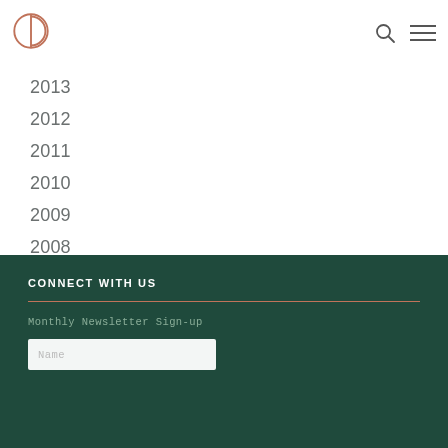Logo, search icon, menu icon
2013
2012
2011
2010
2009
2008
2007
CONNECT WITH US
Monthly Newsletter Sign-up
Name